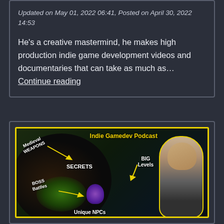Updated on May 01, 2022 06:41, Posted on April 30, 2022 14:53
He’s a creative mastermind, he makes high production indie game development videos and documentaries that can take as much as… Continue reading
[Figure (illustration): Promotional image for Indie Gamedev Podcast featuring game creatures, a person, and text labels: Medieval WEAPONS, SECRETS, BIG Levels, BOSS Battles, Unique NPCs, set against a dark fantasy game background with yellow border]